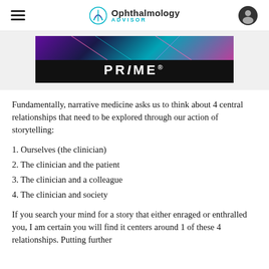Ophthalmology ADVISOR
[Figure (logo): PRIME logo banner with dark background and colorful abstract top section]
Fundamentally, narrative medicine asks us to think about 4 central relationships that need to be explored through our action of storytelling:
1. Ourselves (the clinician)
2. The clinician and the patient
3. The clinician and a colleague
4. The clinician and society
If you search your mind for a story that either enraged or enthralled you, I am certain you will find it centers around 1 of these 4 relationships. Putting further